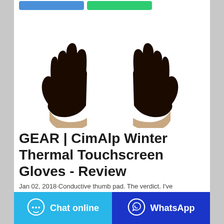[Figure (photo): Two black nitrile/rubber gloves displayed side by side on a white background, showing the front side with fingers spread apart and beige cuffs at the wrists.]
GEAR | CimAlp Winter Thermal Touchscreen Gloves - Review
Jan 02, 2018·Conductive thumb pad. The verdict. I've
Chat online
WhatsApp